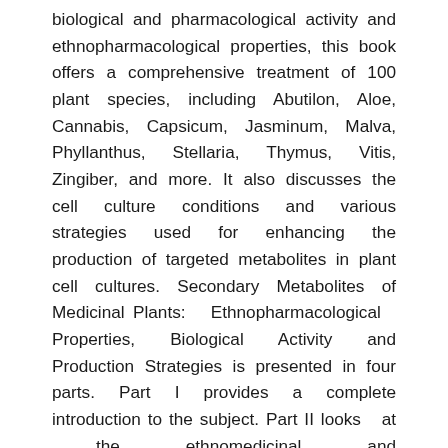biological and pharmacological activity and ethnopharmacological properties, this book offers a comprehensive treatment of 100 plant species, including Abutilon, Aloe, Cannabis, Capsicum, Jasminum, Malva, Phyllanthus, Stellaria, Thymus, Vitis, Zingiber, and more. It also discusses the cell culture conditions and various strategies used for enhancing the production of targeted metabolites in plant cell cultures. Secondary Metabolites of Medicinal Plants: Ethnopharmacological Properties, Biological Activity and Production Strategies is presented in four parts. Part I provides a complete introduction to the subject. Part II looks at the ethnomedicinal and pharmacological properties, chemical structures, and culture conditions of secondary metabolites. The third part examines the many strategies of secondary metabolites